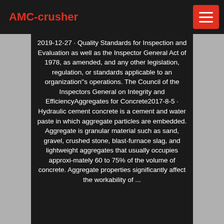AMC-crusher
2019-12-27 · Quality Standards for Inspection and Evaluation as well as the Inspector General Act of 1978, as amended, and any other legislation, regulation, or standards applicable to an organization''s operations. The Council of the Inspectors General on Integrity and EfficiencyAggregates for Concrete2017-8-5 · Hydraulic cement concrete is a cement and water paste in which aggregate particles are embedded. Aggregate is granular material such as sand, gravel, crushed stone, blast-furnace slag, and lightweight aggregates that usually occupies approxi-mately 60 to 75% of the volume of concrete. Aggregate properties significantly affect the workability of ...